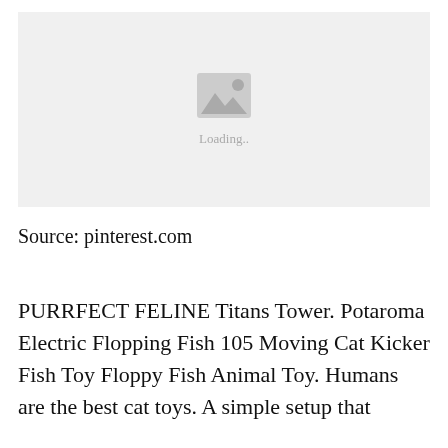[Figure (photo): Image placeholder with a mountain/landscape icon and 'Loading..' text on a light gray background]
Source: pinterest.com
PURRFECT FELINE Titans Tower. Potaroma Electric Flopping Fish 105 Moving Cat Kicker Fish Toy Floppy Fish Animal Toy. Humans are the best cat toys. A simple setup that